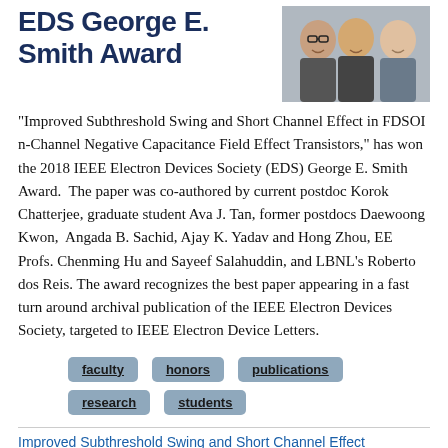EDS George E. Smith Award
[Figure (photo): Group photo of several researchers/students smiling, three visible faces in close-up outdoors or neutral background.]
"Improved Subthreshold Swing and Short Channel Effect in FDSOI n-Channel Negative Capacitance Field Effect Transistors," has won the 2018 IEEE Electron Devices Society (EDS) George E. Smith Award.  The paper was co-authored by current postdoc Korok Chatterjee, graduate student Ava J. Tan, former postdocs Daewoong Kwon,  Angada B. Sachid, Ajay K. Yadav and Hong Zhou, EE Profs. Chenming Hu and Sayeef Salahuddin, and LBNL's Roberto dos Reis. The award recognizes the best paper appearing in a fast turn around archival publication of the IEEE Electron Devices Society, targeted to IEEE Electron Device Letters.
faculty
honors
publications
research
students
Improved Subthreshold Swing and Short Channel Effect